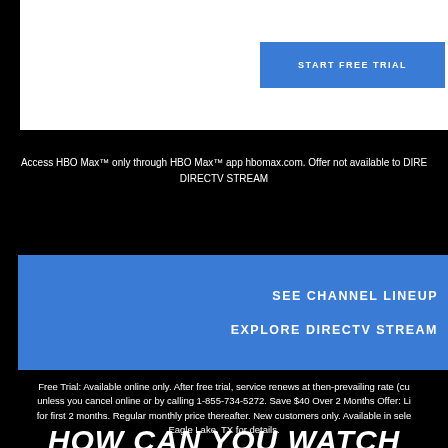START FREE TRIAL
Access HBO Max™ only through HBO Max™ app hbomax.com. Offer not available to DIRECTV STREAM
SEE CHANNEL LINEUP
EXPLORE DIRECTV STREAM
Free Trial: Available online only. After free trial, service renews at then-prevailing rate (cu unless you cancel online or by calling 1-855-734-5272. Save $40 Over 2 Months Offer: Li for first 2 months. Regular monthly price thereafter. New customers only. Available in sele Eagle Lake, TX for details.
HOW CAN YOU WATCH